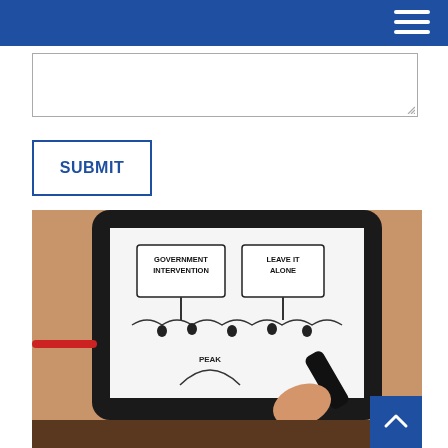[Figure (screenshot): Blue navigation header bar with hamburger menu icon (three white horizontal lines) on the right side]
[Figure (other): Textarea input box with resize handle in bottom right corner]
[Figure (other): SUBMIT button with blue border and blue uppercase text on white background]
[Figure (photo): A hand holding a smartphone displaying a whiteboard drawing showing two signs reading 'GOVERNMENT INTERVENTION' and 'LEAVE IT ALONE' with cartoon figures underneath, and below that a curve labeled 'PEAK'. The image is being drawn with a black marker by another hand.]